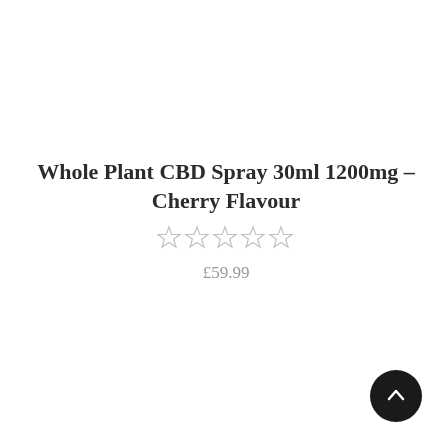Whole Plant CBD Spray 30ml 1200mg – Cherry Flavour
☆ ☆ ☆ ☆ ☆
£59.99
[Figure (other): Black circular back-to-top button with upward arrow icon in bottom-right corner]